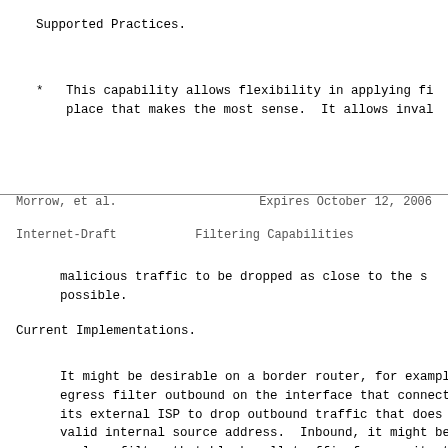Supported Practices.
* This capability allows flexibility in applying fi place that makes the most sense.  It allows inval
Morrow, et al.          Expires October 12, 2006
Internet-Draft          Filtering Capabilities
malicious traffic to be dropped as close to the s possible.
Current Implementations.
It might be desirable on a border router, for exampl egress filter outbound on the interface that connect its external ISP to drop outbound traffic that does valid internal source address.  Inbound, it might be apply a filter that blocks all traffic from a site t to further malicious behavior.